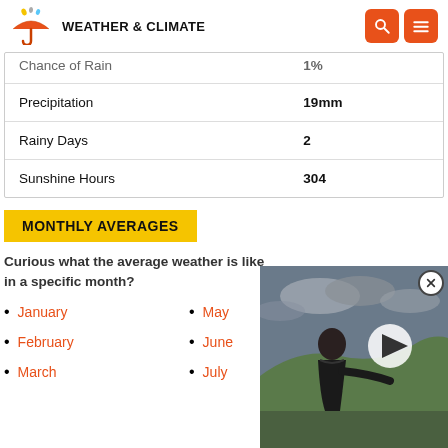WEATHER & CLIMATE
| Chance of Rain | 1% |
| Precipitation | 19mm |
| Rainy Days | 2 |
| Sunshine Hours | 304 |
MONTHLY AVERAGES
Curious what the average weather is like in a specific month?
January
May
February
June
March
July
[Figure (photo): Video overlay showing a man outdoors with hills and cloudy sky in background, with a play button]